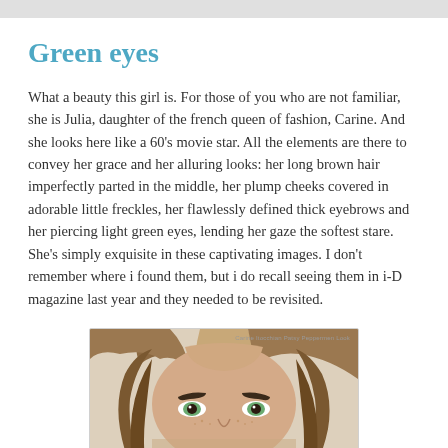Green eyes
What a beauty this girl is. For those of you who are not familiar, she is Julia, daughter of the french queen of fashion, Carine. And she looks here like a 60's movie star. All the elements are there to convey her grace and her alluring looks: her long brown hair imperfectly parted in the middle, her plump cheeks covered in adorable little freckles, her flawlessly defined thick eyebrows and her piercing light green eyes, lending her gaze the softest stare. She's simply exquisite in these captivating images. I don't remember where i found them, but i do recall seeing them in i-D magazine last year and they needed to be revisited.
[Figure (photo): Close-up portrait photograph of a young woman with long brown hair parted in the middle, thick eyebrows, and light green eyes, looking directly at camera. Photo appears to be from i-D magazine.]